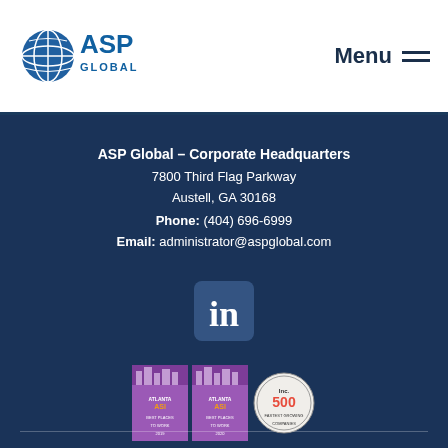[Figure (logo): ASP Global logo with globe icon and text 'ASP GLOBAL']
Menu
ASP Global – Corporate Headquarters
7800 Third Flag Parkway
Austell, GA 30168
Phone: (404) 696-6999
Email: administrator@aspglobal.com
[Figure (logo): LinkedIn icon — white 'in' on blue rounded square]
[Figure (logo): Two Atlanta Best award badges and Inc. 500 badge]